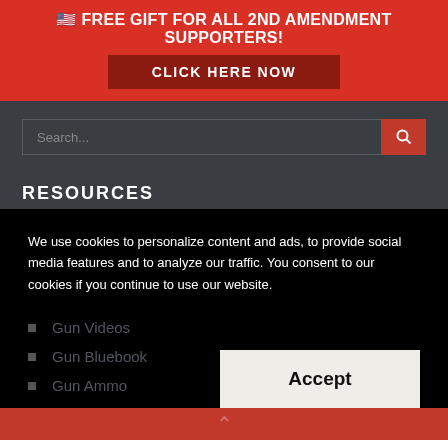🇺🇸 FREE GIFT FOR ALL 2ND AMENDMENT SUPPORTERS!
CLICK HERE NOW
[Figure (screenshot): Search input field with red search button containing magnifying glass icon]
RESOURCES
American Gun Association
Gun Videos
Gun Bluebook
Gun Ammo
We use cookies to personalize content and ads, to provide social media features and to analyze our traffic. You consent to our cookies if you continue to use our website.
Accept